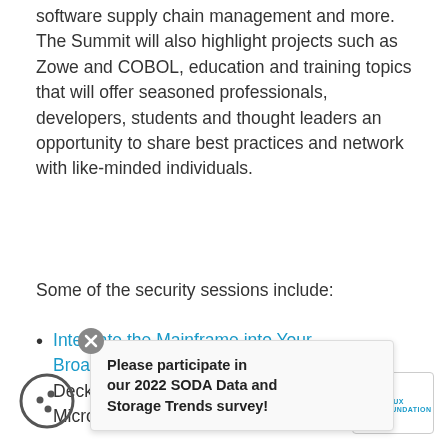software supply chain management and more. The Summit will also highlight projects such as Zowe and COBOL, education and training topics that will offer seasoned professionals, developers, students and thought leaders an opportunity to share best practices and network with like-minded individuals.
Some of the security sessions include:
Integrate the Mainframe into Your Broader IT ... Decker, Dir... ...g Micro Focus
[Figure (other): Cookie consent icon — circular cookie with dots]
Please participate in our 2022 SODA Data and Storage Trends survey!
[Figure (logo): The Linux Foundation logo in a white rounded box]